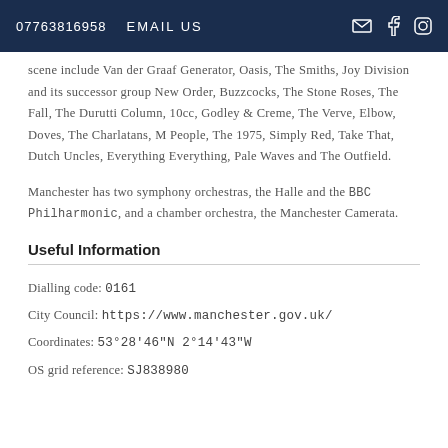07763816958   EMAIL US
scene include Van der Graaf Generator, Oasis, The Smiths, Joy Division and its successor group New Order, Buzzcocks, The Stone Roses, The Fall, The Durutti Column, 10cc, Godley & Creme, The Verve, Elbow, Doves, The Charlatans, M People, The 1975, Simply Red, Take That, Dutch Uncles, Everything Everything, Pale Waves and The Outfield.
Manchester has two symphony orchestras, the Halle and the BBC Philharmonic, and a chamber orchestra, the Manchester Camerata.
Useful Information
Dialling code: 0161
City Council: https://www.manchester.gov.uk/
Coordinates: 53°28'46"N 2°14'43"W
OS grid reference: SJ838980